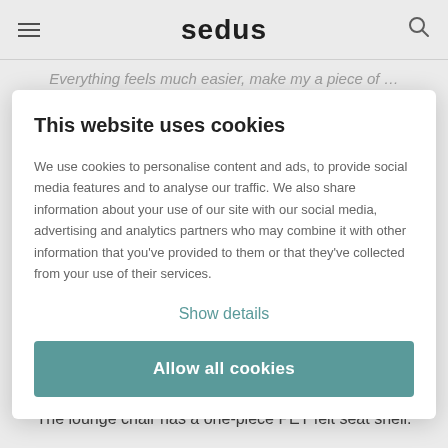sedus
Everything feels much easier, make my a piece of…
This website uses cookies
We use cookies to personalise content and ads, to provide social media features and to analyse our traffic. We also share information about your use of our site with our social media, advertising and analytics partners who may combine it with other information that you've provided to them or that they've collected from your use of their services.
Show details
Allow all cookies
Shaped for comfort
The lounge chair has a one-piece PET felt seat shell.